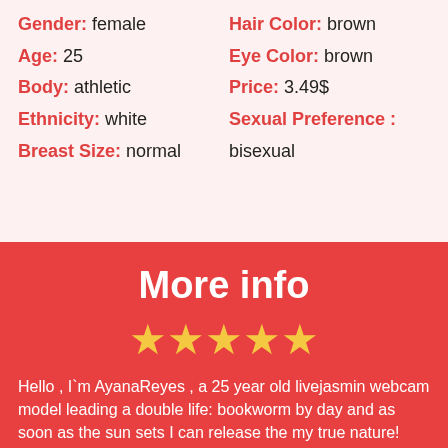Gender: female | Hair Color: brown | Age: 25 | Eye Color: brown | Body: athletic | Price: 3.49$ | Ethnicity: white | Sexual Preference: bisexual | Breast Size: normal
More info
★★★★★
Hello , I`m AyanaReyes , a 25 year old livejasmin webcam model leading a double life: bookworm by day and as soon as the sun sets I can release the my true nature! Curiouss